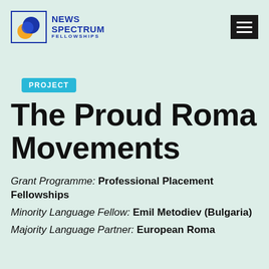NEWS SPECTRUM FELLOWSHIPS
PROJECT
The Proud Roma Movements
Grant Programme: Professional Placement Fellowships
Minority Language Fellow: Emil Metodiev (Bulgaria)
Majority Language Partner: European Roma